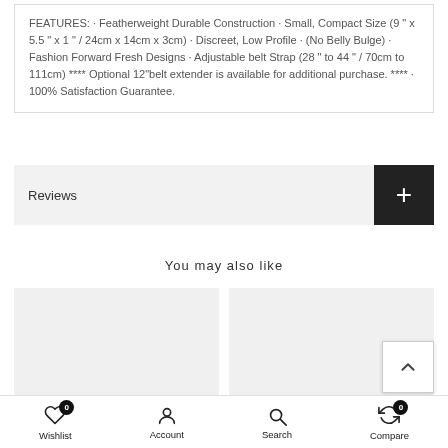FEATURES: · Featherweight Durable Construction · Small, Compact Size (9 " x 5.5 " x 1 " / 24cm x 14cm x 3cm) · Discreet, Low Profile · (No Belly Bulge) · Fashion Forward Fresh Designs · Adjustable belt Strap (28 " to 44 " / 70cm to 111cm) **** Optional 12"belt extender is available for additional purchase. **** · 100% Satisfaction Guarantee.
Reviews
You may also like
[Figure (other): Two empty product image placeholder boxes side by side]
Wishlist  Account  Search  Compare